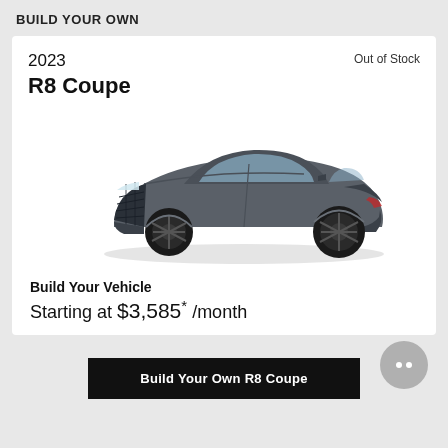BUILD YOUR OWN
Out of Stock
2023
R8 Coupe
[Figure (photo): 2023 Audi R8 Coupe in dark gray/grey color, shown in a 3/4 front view against a white background. The car is a low-slung sports coupe with distinctive Audi front grille and black alloy wheels.]
Build Your Vehicle
Starting at $3,585* /month
Build Your Own R8 Coupe